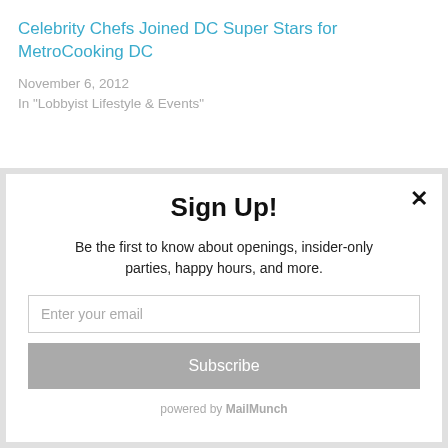Celebrity Chefs Joined DC Super Stars for MetroCooking DC
November 6, 2012
In "Lobbyist Lifestyle & Events"
✕
Sign Up!
Be the first to know about openings, insider-only parties, happy hours, and more.
Enter your email
Subscribe
powered by MailMunch